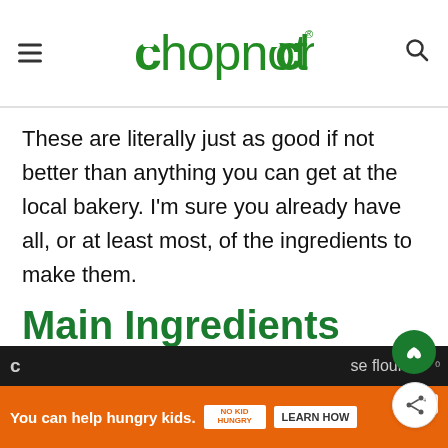chopnotch
These are literally just as good if not better than anything you can get at the local bakery. I’m sure you already have all, or at least most, of the ingredients to make them.
Main Ingredients
[Figure (screenshot): Advertisement banner: orange background with text 'You can help hungry kids.' and No Kid Hungry badge and LEARN HOW button. X close button top right. Below is a dark strip with partial text 'se flour' visible.]